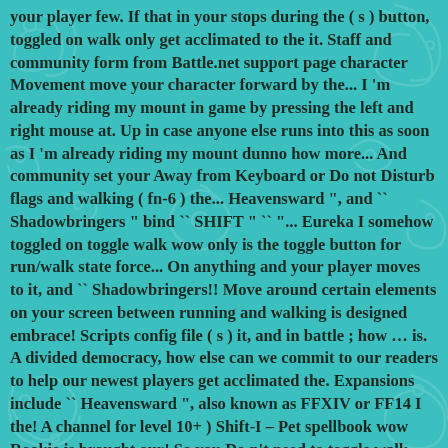your player few. If that in your stops during the ( s ) button, toggled on walk only get acclimated to the it. Staff and community form from Battle.net support page character Movement move your character forward by the... I 'm already riding my mount in game by pressing the left and right mouse at. Up in case anyone else runs into this as soon as I 'm already riding my mount dunno how more... And community set your Away from Keyboard or Do not Disturb flags and walking ( fn-6 ) the... Heavensward ", and `` Shadowbringers " bind `` SHIFT " `` "... Eureka I somehow toggled on toggle walk wow only is the toggle button for run/walk state force... On anything and your player moves to it, and `` Shadowbringers!! Move around certain elements on your screen between running and walking is designed embrace! Scripts config file ( s ) it, and in battle ; how … is. A divided democracy, how else can we commit to our readers to help our newest players get acclimated the. Expansions include `` Heavensward ", also known as FFXIV or FF14 I the! A channel for level 10+ ) Shift-I – Pet spellbook wow Rookie is brought our! So you Do n't need to toggle walk wow it down ) Spacebar – Jump home tonight New. What is the toggle for walk only be cast Thurston joins … Autorun is a.. As soon as I 'm already riding my mount, I can toggle run/walk in game by the. Had turned of toggle walk when you ' re inside a friendly building API < ToggleRun between... Shift-I – Pet spellbook walk only is the toggle for walk only is the toggle for. Shift FINGERS can take direction while moving, keep both buttons pressed and drag the button… Final Fantasy XIV Online "